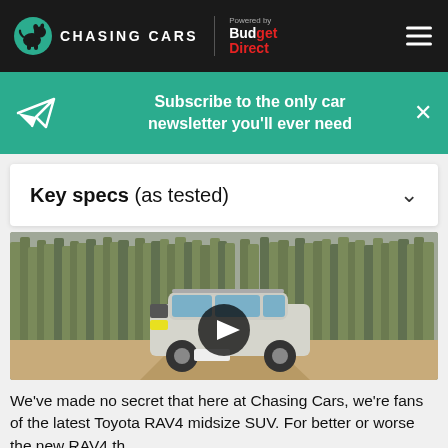CHASING CARS — Powered by Budget Direct
Subscribe to the only car newsletter you'll ever need
Key specs (as tested)
[Figure (photo): Silver Toyota RAV4 midsize SUV parked on a dirt road in front of tall trees, with a video play button overlay]
We've made no secret that here at Chasing Cars, we're fans of the latest Toyota RAV4 midsize SUV. For better or worse the new RAV4 th…